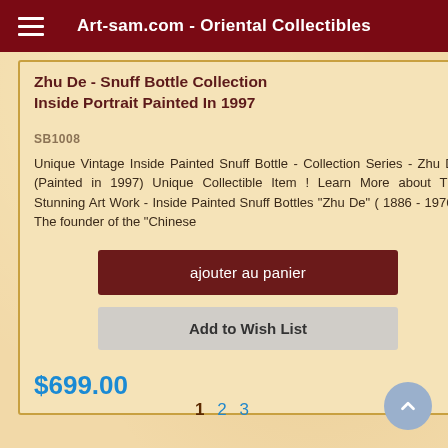Art-sam.com - Oriental Collectibles
Zhu De - Snuff Bottle Collection Inside Portrait Painted In 1997
SB1008
Unique Vintage Inside Painted Snuff Bottle - Collection Series - Zhu De (Painted in 1997) Unique Collectible Item ! Learn More about The Stunning Art Work - Inside Painted Snuff Bottles "Zhu De" ( 1886 - 1976 ) The founder of the "Chinese
ajouter au panier
Add to Wish List
$699.00
1 2 3